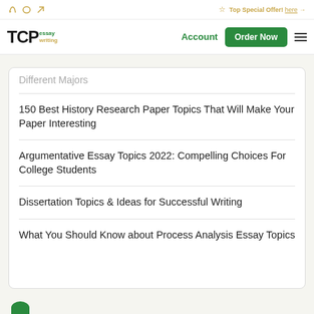Top Special Offer! here →
[Figure (logo): TCPessay writing logo with navigation: Account button, Order Now button, hamburger menu]
Different Majors
150 Best History Research Paper Topics That Will Make Your Paper Interesting
Argumentative Essay Topics 2022: Compelling Choices For College Students
Dissertation Topics & Ideas for Successful Writing
What You Should Know about Process Analysis Essay Topics